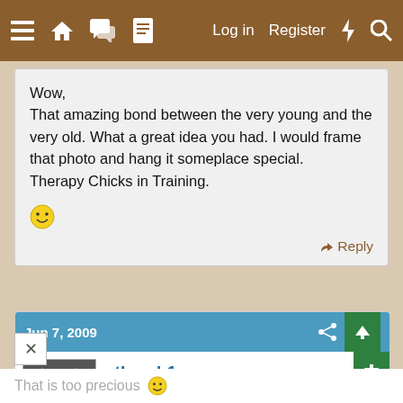≡ 🏠 💬 📄   Log in   Register   ⚡ 🔍
Wow,
That amazing bond between the very young and the very old. What a great idea you had. I would frame that photo and hang it someplace special.
Therapy Chicks in Training.
[smiley emoji]
↩ Reply
Jun 7, 2009
cthrash1
Songster   11 Years
That is too precious 🙂